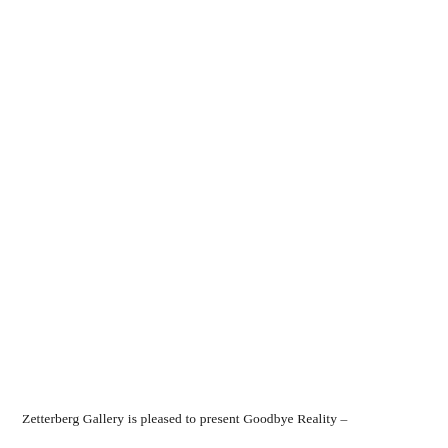Zetterberg Gallery is pleased to present Goodbye Reality –